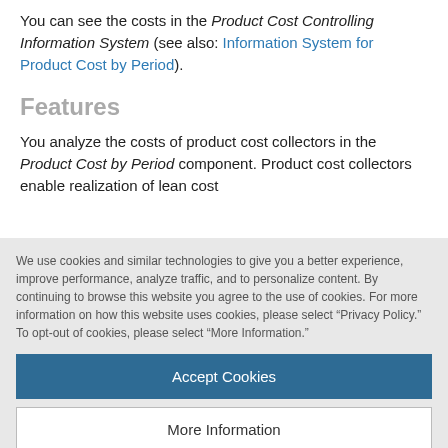You can see the costs in the Product Cost Controlling Information System (see also: Information System for Product Cost by Period).
Features
You analyze the costs of product cost collectors in the Product Cost by Period component. Product cost collectors enable realization of lean cost
We use cookies and similar technologies to give you a better experience, improve performance, analyze traffic, and to personalize content. By continuing to browse this website you agree to the use of cookies. For more information on how this website uses cookies, please select “Privacy Policy.” To opt-out of cookies, please select “More Information.”
Accept Cookies
More Information
Privacy Policy | Powered by: TrustArc